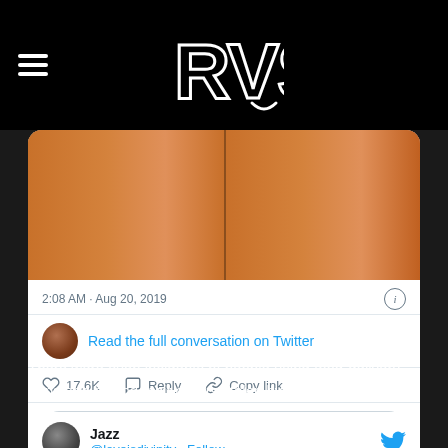[Figure (logo): RVS logo in white block letters with decorative style on black background, with hamburger menu icon on left]
[Figure (screenshot): Screenshot of a Twitter/social media post showing food images, timestamp 2:08 AM · Aug 20, 2019, a Read the full conversation on Twitter link, like count 17.6K, Reply and Copy link actions, and a Read 371 replies button]
There were even incidents of people using food-delivery apps and having their orders stolen by delivery people.
[Figure (screenshot): Bottom portion of a Twitter card showing user Jazz @loveisdivinity with Follow link and Twitter bird icon]